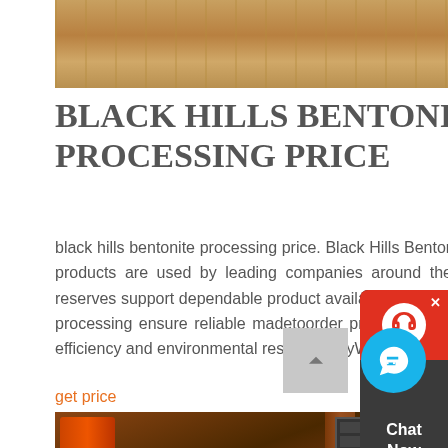[Figure (photo): Aerial or ground-level view of sandy/earthen terrain, possibly a mining or construction site]
BLACK HILLS BENTONITE PROCESSING PRICE
black hills bentonite processing price. Black Hills Bentonite's highquality Wyoming products are used by leading companies around the world Plentiful longterm reserves support dependable product availability Selective mining and specialized processing ensure reliable madetoorder product Our operations focus on safety efficiency and environmental responsibilityWe are a
get price
[Figure (photo): Industrial mining or crushing machine with orange/rust-colored components, cone crusher visible with springs at bottom]